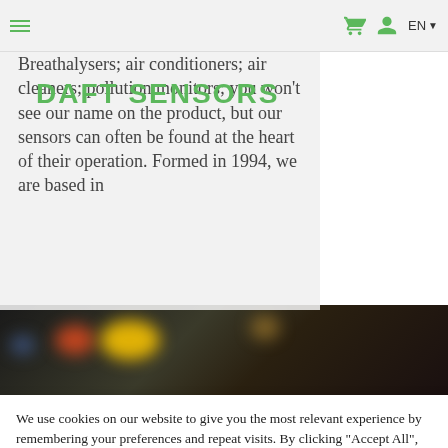DAFT SENSORS — Navigation bar with hamburger menu, cart icon, user icon, EN language selector
[Figure (logo): DAFT SENSORS logo in green text]
Breathalysers; air conditioners; air cleaners; pollution monitors; you won't see our name on the product, but our sensors can often be found at the heart of their operation. Formed in 1994, we are based in
[Figure (photo): Dark background with blurred bokeh lights in orange, red and blue — appears to be a nighttime scene]
We use cookies on our website to give you the most relevant experience by remembering your preferences and repeat visits. By clicking "Accept All", you consent to the use of ALL the cookies. However, you may visit "Cookie Settings" to provide a controlled consent.
Cookie Settings   Accept All